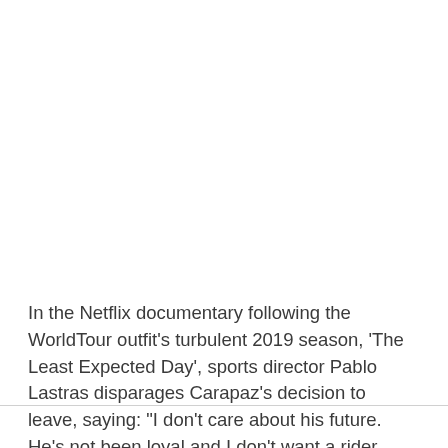In the Netflix documentary following the WorldTour outfit's turbulent 2019 season, 'The Least Expected Day', sports director Pablo Lastras disparages Carapaz's decision to leave, saying: "I don't care about his future. He's not been loyal and I don't want a rider who's not been loyal in my team."